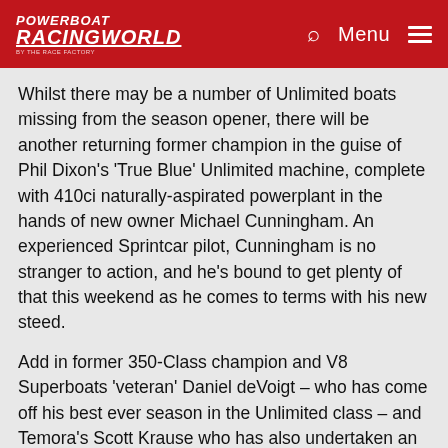POWERBOAT RACINGWORLD
Whilst there may be a number of Unlimited boats missing from the season opener, there will be another returning former champion in the guise of Phil Dixon's 'True Blue' Unlimited machine, complete with 410ci naturally-aspirated powerplant in the hands of new owner Michael Cunningham. An experienced Sprintcar pilot, Cunningham is no stranger to action, and he's bound to get plenty of that this weekend as he comes to terms with his new steed.
Add in former 350-Class champion and V8 Superboats 'veteran' Daniel deVoigt – who has come off his best ever season in the Unlimited class – and Temora's Scott Krause who has also undertaken an off-season change with his supercharged powerplant replaced by an ex-Slade Stanley Farr